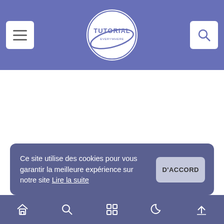Tutorial — website header with hamburger menu, logo, and search button
Ce site utilise des cookies pour vous garantir la meilleure expérience sur notre site Lire la suite
Bottom navigation bar with home, search, grid, moon, and up-arrow icons